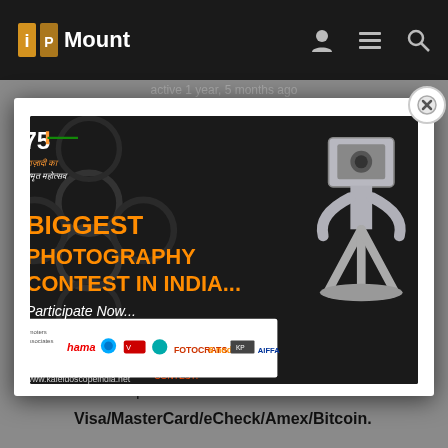iiP Mount
active 1 year, 5 months ago
[Figure (photo): Modal popup showing a photography contest advertisement: 'BIGGEST PHOTOGRAPHY CONTEST IN INDIA... Participate Now...' with a silver camera-headed figurine, IIP Academy logo, #UnityInCreativity Contest branding, www.kaleidoscopeindia.net URL, and sponsor logos including hama, FOTOCRATS, AIFFA and others. Indian 75th independence Azadi ka Amrit Mahotsav logo shown top-left.]
We accept:
Visa/MasterCard/eCheck/Amex/Bitcoin.